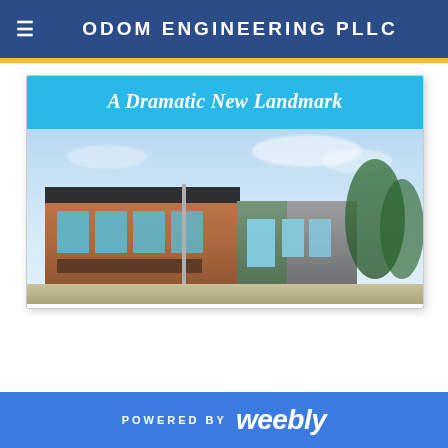ODOM ENGINEERING PLLC
[Figure (illustration): Architectural rendering of a modern commercial building with copper/brick facade and glass elements, with text banner 'A Dramatic New Landmark' on a blue background above the building illustration]
POWERED BY weebly